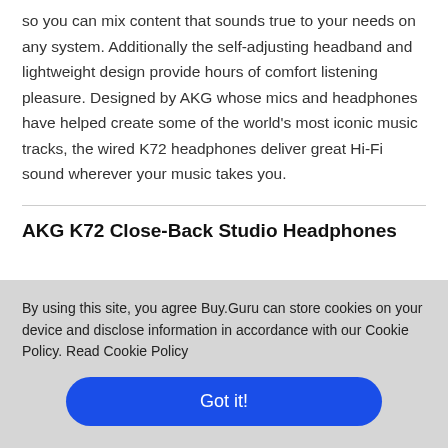so you can mix content that sounds true to your needs on any system. Additionally the self-adjusting headband and lightweight design provide hours of comfort listening pleasure. Designed by AKG whose mics and headphones have helped create some of the world's most iconic music tracks, the wired K72 headphones deliver great Hi-Fi sound wherever your music takes you.
AKG K72 Close-Back Studio Headphones
By using this site, you agree Buy.Guru can store cookies on your device and disclose information in accordance with our Cookie Policy. Read Cookie Policy